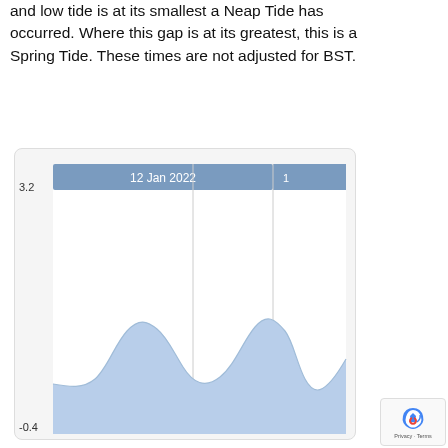and low tide is at its smallest a Neap Tide has occurred. Where this gap is at its greatest, this is a Spring Tide. These times are not adjusted for BST.
[Figure (continuous-plot): Area chart showing tide height over time around 12 Jan 2022. Y-axis ranges from -0.4 to 3.2 metres. The chart shows a blue shaded area with wave-like peaks and troughs representing tidal patterns. A tooltip/header shows '12 Jan 2022'. Two vertical lines divide the chart into sections. The area fill is light blue with a white background inside a rounded box.]